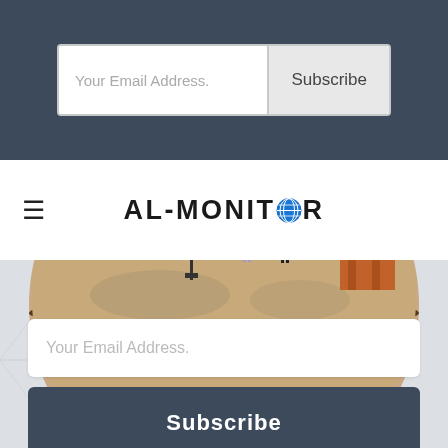[Figure (screenshot): Top dark blue-grey navigation bar with email subscription form containing 'Your Email Address.' placeholder text and 'Subscribe' button]
Your Email Address.
Subscribe
[Figure (logo): AL-MONITOR logo with globe icon replacing the O, in black bold text]
[Figure (illustration): Isometric illustration on a circular platform showing diverse people in business attire near a presentation screen with charts, with Arabic-style building in background]
Your Email Address.
Subscribe